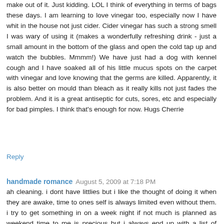make out of it. Just kidding. LOL I think of everything in terms of bags these days. I am learning to love vinegar too, especially now I have whit in the house not just cider. Cider vinegar has such a strong smell I was wary of using it (makes a wonderfully refreshing drink - just a small amount in the bottom of the glass and open the cold tap up and watch the bubbles. Mmmm!) We have just had a dog with kennel cough and I have soaked all of his little mucus spots on the carpet with vinegar and love knowing that the germs are killed. Apparently, it is also better on mould than bleach as it really kills not just fades the problem. And it is a great antiseptic for cuts, sores, etc and especially for bad pimples. I think that's enough for now. Hugs Cherrie
Reply
handmade romance  August 5, 2009 at 7:18 PM
ah cleaning. i dont have littlies but i like the thought of doing it when they are awake, time to ones self is always limited even without them. i try to get something in on a week night if not much is planned as weekend time to me is precious but i always end up with a list of things to do, either way.